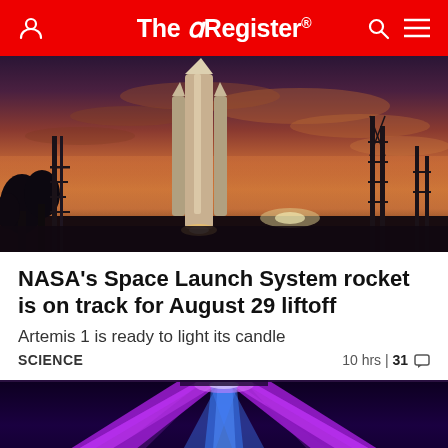The Register
[Figure (photo): NASA Space Launch System rocket on launch pad at dusk/sunset with orange-purple sky and silhouetted trees and tower structures]
NASA's Space Launch System rocket is on track for August 29 liftoff
Artemis 1 is ready to light its candle
SCIENCE  10 hrs | 31
[Figure (photo): Purple and blue neon laser light beams in an arena or event venue setting, viewed symmetrically from below]